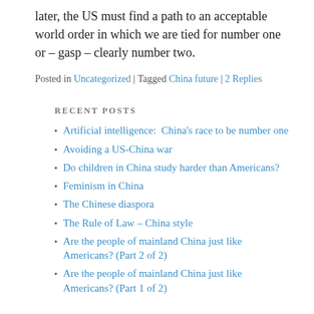later, the US must find a path to an acceptable world order in which we are tied for number one or – gasp – clearly number two.
Posted in Uncategorized | Tagged China future | 2 Replies
RECENT POSTS
Artificial intelligence:  China's race to be number one
Avoiding a US-China war
Do children in China study harder than Americans?
Feminism in China
The Chinese diaspora
The Rule of Law – China style
Are the people of mainland China just like Americans? (Part 2 of 2)
Are the people of mainland China just like Americans? (Part 1 of 2)